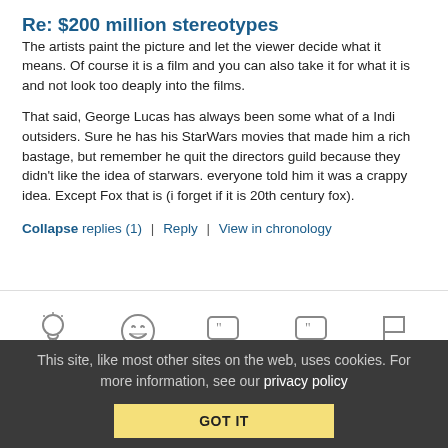Re: $200 million stereotypes
The artists paint the picture and let the viewer decide what it means. Of course it is a film and you can also take it for what it is and not look too deaply into the films.
That said, George Lucas has always been some what of a Indi outsiders. Sure he has his StarWars movies that made him a rich bastage, but remember he quit the directors guild because they didn't like the idea of starwars. everyone told him it was a crappy idea. Except Fox that is (i forget if it is 20th century fox).
Collapse replies (1) | Reply | View in chronology
[Figure (infographic): Icon bar with five icons: lightbulb, laughing emoji, open quote bubble, close quote bubble, flag]
This site, like most other sites on the web, uses cookies. For more information, see our privacy policy GOT IT